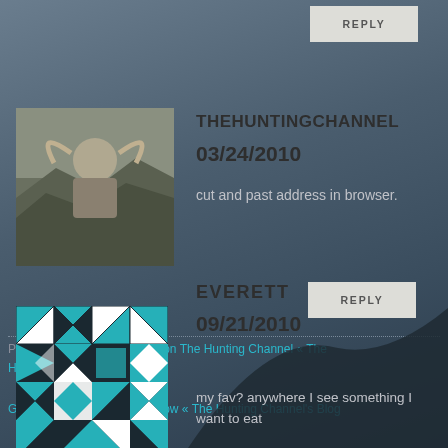REPLY
[Figure (photo): Avatar photo of TheHuntingChannel: person in hunting gear with large ram horns in rocky terrain]
THEHUNTINGCHANNEL
03/24/2010
cut and past address in browser.
REPLY
Pingback: Get your TV show on The Hunting Channel « The Hunting Channel's Blog
Get your Own Hunting TV Show « The Hunting Channel's Blog
[Figure (logo): Teal/white geometric quilt-pattern avatar logo for Everett]
EVERETT
09/21/2010
my fav? anywhere I see something I want to eat